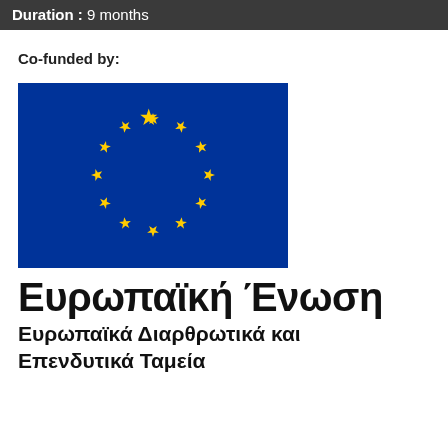Duration : 9 months
Co-funded by:
[Figure (logo): European Union flag — blue rectangle with 12 yellow stars in a circle]
Ευρωπαϊκή Ένωση
Ευρωπαϊκά Διαρθρωτικά και Επενδυτικά Ταμεία